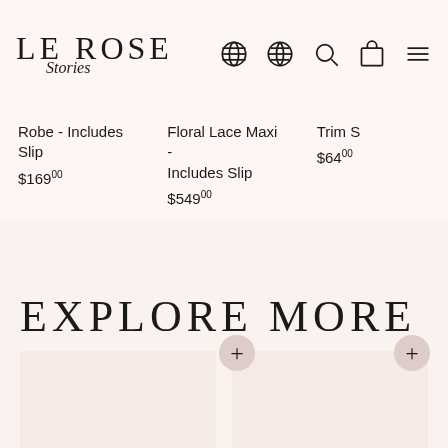LE ROSE Stories
Robe - Includes Slip $169.00
Floral Lace Maxi - Includes Slip $549.00
Trim S $64.00
EXPLORE MORE
[Figure (photo): Two product image cards side by side with add (+) buttons, showing clothing items on a light pink background]